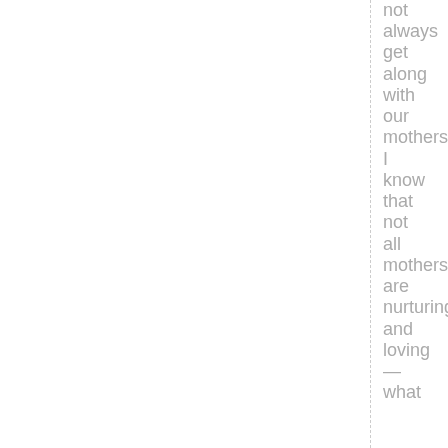not always get along with our mothers. I know that not all mothers are nurturing and loving — what